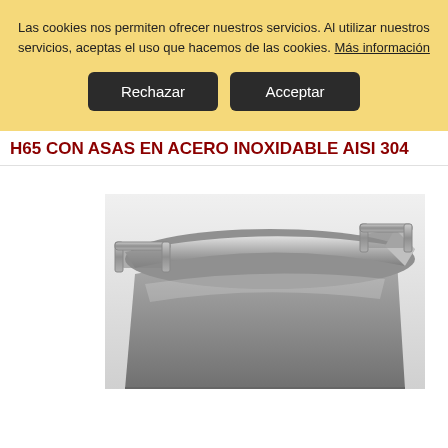Las cookies nos permiten ofrecer nuestros servicios. Al utilizar nuestros servicios, aceptas el uso que hacemos de las cookies. Más información
Rechazar
Acceptar
H65 CON ASAS EN ACERO INOXIDABLE AISI 304
[Figure (photo): Close-up photograph of a stainless steel gastronorm container with handles (H65), showing the top rim and handle detail of an AISI 304 stainless steel pan.]